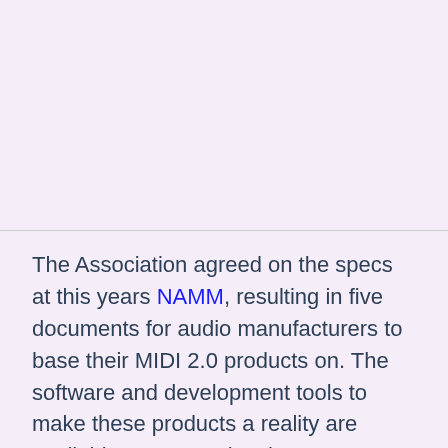[Figure (other): Large blank pinkish-white area at the top of the page, likely an image placeholder or whitespace region.]
The Association agreed on the specs at this years NAMM, resulting in five documents for audio manufacturers to base their MIDI 2.0 products on. The software and development tools to make these products a reality are available to companies that are members of the MMA. Membership can be